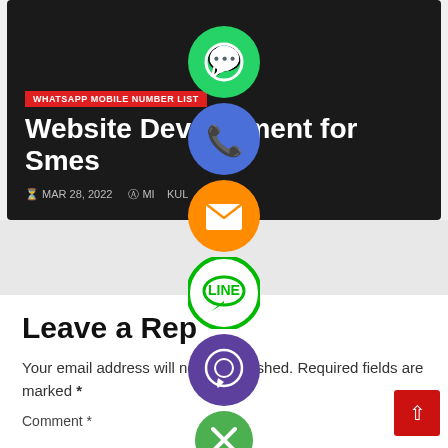[Figure (screenshot): Dark hero card with red badge 'WHATSAPP MOBILE NUMBER LIST', bold white title 'Website Development for Smes', and metadata showing MAR 28, 2022 and author MI...KUL]
Website Development for Smes
WHATSAPP MOBILE NUMBER LIST
MAR 28, 2022   MI...KUL
[Figure (infographic): Vertical stack of social sharing buttons: WhatsApp (green), phone/call (blue/purple), email (orange), LINE (green), Viber (purple), close/X (green)]
Leave a Reply
Your email address will not be published. Required fields are marked *
Comment *